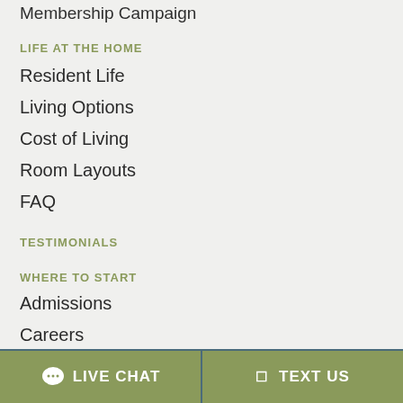Membership Campaign
LIFE AT THE HOME
Resident Life
Living Options
Cost of Living
Room Layouts
FAQ
TESTIMONIALS
WHERE TO START
Admissions
Careers
Volunteers
LIVE CHAT  TEXT US